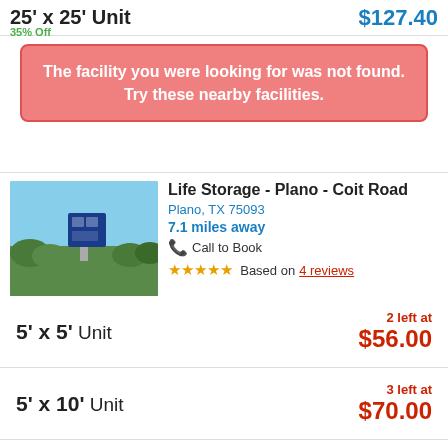25' x 25' Unit  $127.40
35% Off
The facility you were looking for was not found. Try these nearby facilities.
Life Storage - Plano - Coit Road
Plano, TX 75093
7.1 miles away
Call to Book
★★★★★ Based on 4 reviews
5' x 5' Unit  2 left at $56.00
5' x 10' Unit  3 left at $70.00
5' x 15' Unit  $101.00
Compare 13 units at this facility »
Advantage Storage - Sachse